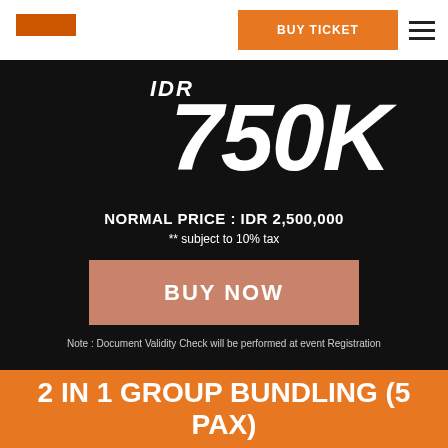[Figure (logo): Orange logo box in the top-left header area]
BUY TICKET
IDR
750K
NORMAL PRICE : IDR 2,500,000
** subject to 10% tax
BUY NOW
Note : Document Validity Check will be performed at event Registration
2 IN 1 GROUP BUNDLING (5 PAX)